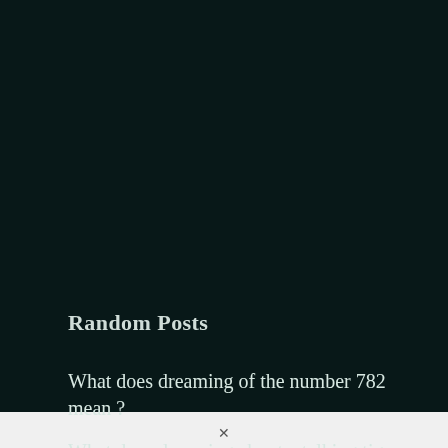Random Posts
What does dreaming of the number 782 mean ?
What does dreaming about a talking tiger mean ?
What does dreaming about the planet
×